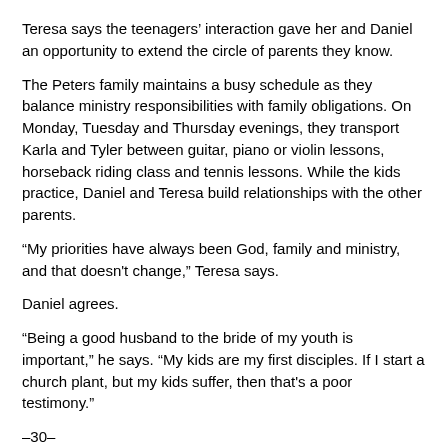Teresa says the teenagers' interaction gave her and Daniel an opportunity to extend the circle of parents they know.
The Peters family maintains a busy schedule as they balance ministry responsibilities with family obligations. On Monday, Tuesday and Thursday evenings, they transport Karla and Tyler between guitar, piano or violin lessons, horseback riding class and tennis lessons. While the kids practice, Daniel and Teresa build relationships with the other parents.
“My priorities have always been God, family and ministry, and that doesn't change,” Teresa says.
Daniel agrees.
“Being a good husband to the bride of my youth is important,” he says. “My kids are my first disciples. If I start a church plant, but my kids suffer, then that's a poor testimony.”
–30–
*Names changed for security reasons.